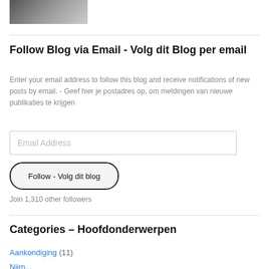[Figure (photo): Partial image of a blog post or article thumbnail at the top of the sidebar]
Follow Blog via Email - Volg dit Blog per email
Enter your email address to follow this blog and receive notifications of new posts by email. - Geef hier je postadres op, om meldingen van nieuwe publikaties te krijgen
Email Address
Follow - Volg dit blog
Join 1,310 other followers
Categories – Hoofdonderwerpen
Aankondiging (11)